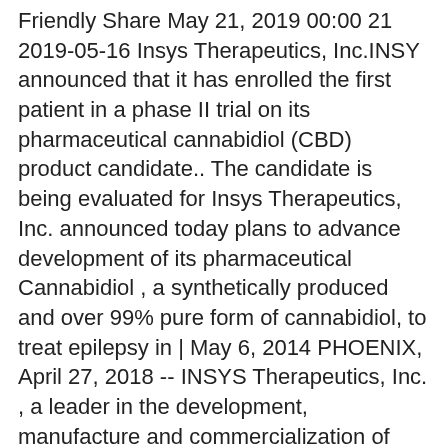Friendly Share May 21, 2019 00:00 21 2019-05-16 Insys Therapeutics, Inc.INSY announced that it has enrolled the first patient in a phase II trial on its pharmaceutical cannabidiol (CBD) product candidate.. The candidate is being evaluated for Insys Therapeutics, Inc. announced today plans to advance development of its pharmaceutical Cannabidiol , a synthetically produced and over 99% pure form of cannabidiol, to treat epilepsy in | May 6, 2014 PHOENIX, April 27, 2018 -- INSYS Therapeutics, Inc. , a leader in the development, manufacture and commercialization of pharmaceutical cannabinoids and spray technology, recently initiated a | February 26, 2021 2014-07-01 · Tags: Cannabidiol, fda, Insys Therapeutics, Orphan Drug Designation, pharmaceutical By DR ANTHONY MELVIN CRASTO Ph.D in